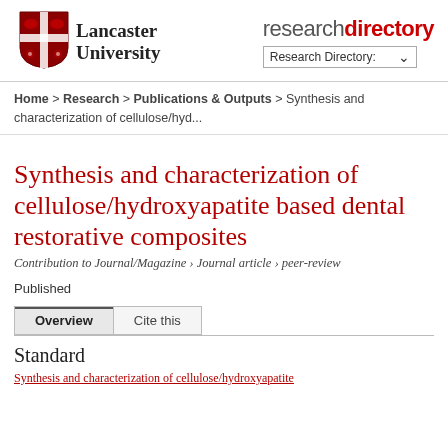[Figure (logo): Lancaster University crest/shield logo with red lion and roses on white background]
Lancaster University researchdirectory Research Directory:
Home > Research > Publications & Outputs > Synthesis and characterization of cellulose/hyd...
Synthesis and characterization of cellulose/hydroxyapatite based dental restorative composites
Contribution to Journal/Magazine › Journal article › peer-review
Published
Overview    Cite this
Standard
Synthesis and characterization of cellulose/hydroxyapatite...